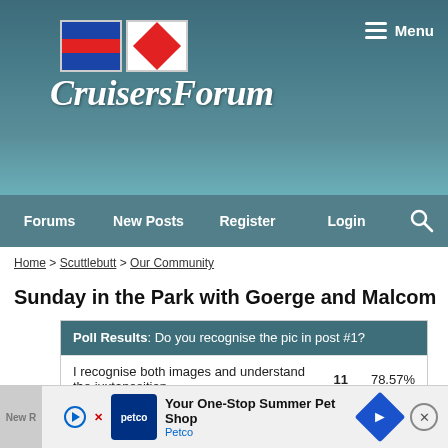[Figure (screenshot): CruisersForum website header with nautical flags logo and sailboat background image]
Menu
Forums  New Posts  Register  Login
Home > Scuttlebutt > Our Community
Sunday in the Park with Goerge and Malcom
| Option | Votes | Percentage |
| --- | --- | --- |
| I recognise both images and understand the juxtaposition. | 11 | 78.57% |
| WTF? | 3 | 21.43% |
Poll Results: Do you recognise the pic in post #1?
Voters: 14. You may not vote on this poll
Your One-Stop Summer Pet Shop Petco